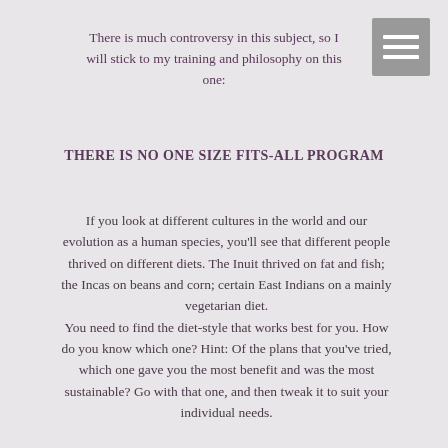There is much controversy in this subject, so I will stick to my training and philosophy on this one:
[Figure (other): Menu/hamburger icon — grey square with three white horizontal lines]
THERE IS NO ONE SIZE FITS-ALL PROGRAM
If you look at different cultures in the world and our evolution as a human species, you'll see that different people thrived on different diets. The Inuit thrived on fat and fish; the Incas on beans and corn; certain East Indians on a mainly vegetarian diet. You need to find the diet-style that works best for you. How do you know which one? Hint: Of the plans that you've tried, which one gave you the most benefit and was the most sustainable? Go with that one, and then tweak it to suit your individual needs.